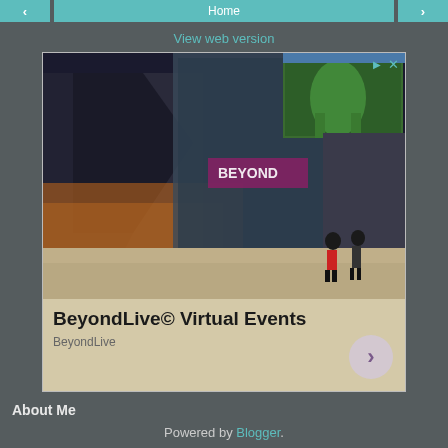< Home >
View web version
[Figure (photo): Advertisement for BeyondLive Virtual Events showing a large venue/convention center exterior at night with a large digital billboard screen, two people walking in foreground. Ad text: BeyondLive© Virtual Events, BeyondLive]
About Me
Michael Block
View my complete profile
Powered by Blogger.